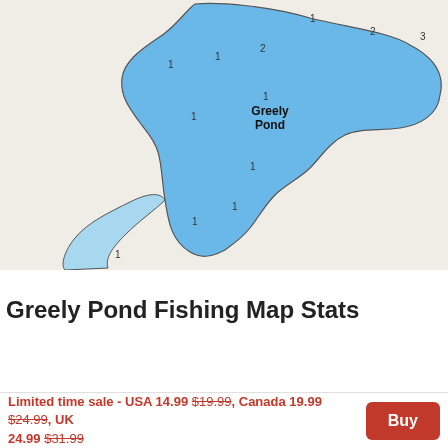[Figure (map): Greely Pond depth map showing the pond outline filled in blue with depth contour numbers (1, 2, 3) and label 'Greely Pond' in the center, on a beige background.]
Greely Pond depth map
Greely Pond Fishing Map Stats
| Title | Greely Pond |
| Scale | 1:3000 |
| Counties | Franklin |
| Nearby Cities | Rangeley, Oquossoc, Stratton, Eustis, Byron, Phillips, Roxbury, Salem, Weld, Carrabassett |
| Area * | 39.69 acres |
Limited time sale - USA 14.99 $19.99, Canada 19.99 $24.99, UK 24.99 $31.99